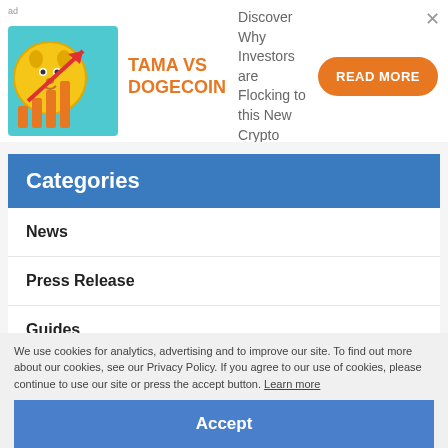[Figure (illustration): Advertisement banner showing TAMA VS DOGECOIN crypto ad with a Shiba Inu dog coin image and bar chart graphic]
TAMA VS DOGECOIN
Discover Why Investors are Flocking to this New Crypto
READ MORE
Categories
News
Press Release
Guides
Derivatives Report
We use cookies for analytics, advertising and to improve our site. To find out more about our cookies, see our Privacy Policy. If you agree to our use of cookies, please continue to use our site or press the accept button. Learn more
Accept